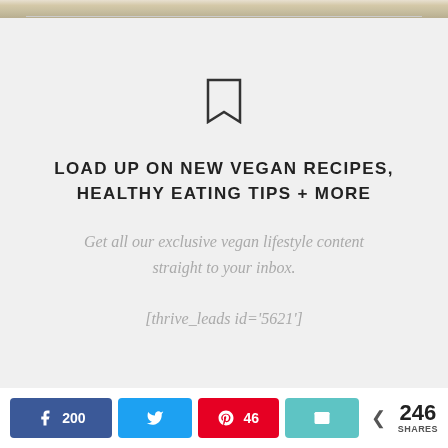[Figure (photo): Partial food photo strip at top of page showing salad/vegan dish]
LOAD UP ON NEW VEGAN RECIPES, HEALTHY EATING TIPS + MORE
Get all our exclusive vegan lifestyle content straight to your inbox.
[thrive_leads id='5621']
200  [Facebook share button]  [Twitter share button]  46 [Pinterest share button]  [Email share button]  < 246 SHARES